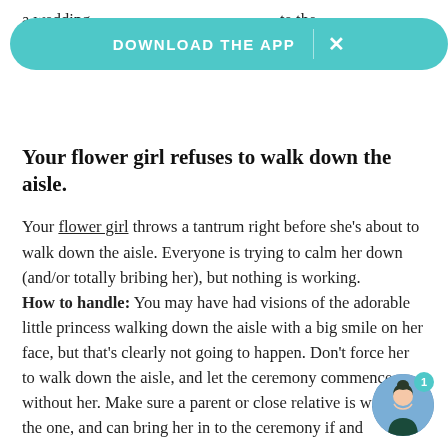a wedding … te the additional … ay.
[Figure (other): Teal app download banner overlay with 'DOWNLOAD THE APP' text and X close button]
Your flower girl refuses to walk down the aisle.
Your flower girl throws a tantrum right before she's about to walk down the aisle. Everyone is trying to calm her down (and/or totally bribing her), but nothing is working. How to handle: You may have had visions of the adorable little princess walking down the aisle with a big smile on her face, but that's clearly not going to happen. Don't force her to walk down the aisle, and let the ceremony commence on without her. Make sure a parent or close relative is watching the one, and can bring her in to the ceremony if and
[Figure (illustration): Chat support avatar bubble with teal badge showing number 1, bottom right corner]